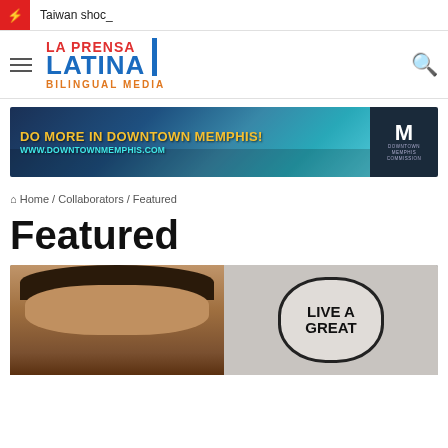Taiwan shoc_
[Figure (logo): La Prensa Latina Bilingual Media logo]
[Figure (photo): Advertisement banner: DO MORE IN DOWNTOWN MEMPHIS! www.downtownmemphis.com — Downtown Memphis Commission]
Home / Collaborators / Featured
Featured
[Figure (photo): Person standing in front of a sign reading LIVE A GREAT]